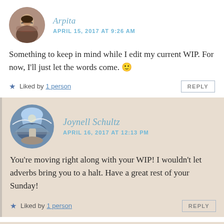Arpita — APRIL 15, 2017 AT 9:26 AM
Something to keep in mind while I edit my current WIP. For now, I'll just let the words come. 🙂
★ Liked by 1 person
Joynell Schultz — APRIL 16, 2017 AT 12:13 PM
You're moving right along with your WIP! I wouldn't let adverbs bring you to a halt. Have a great rest of your Sunday!
★ Liked by 1 person